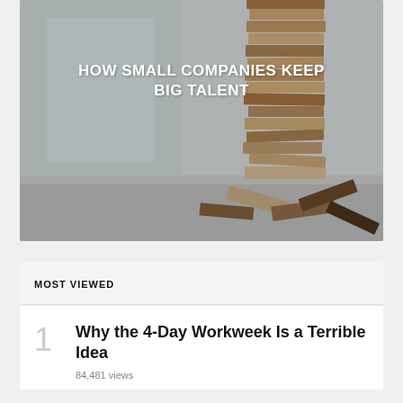[Figure (photo): Photo of a Jenga tower with wooden blocks, some scattered on a surface, with text overlay reading 'HOW SMALL COMPANIES KEEP BIG TALENT']
HOW SMALL COMPANIES KEEP BIG TALENT
MOST VIEWED
Why the 4-Day Workweek Is a Terrible Idea